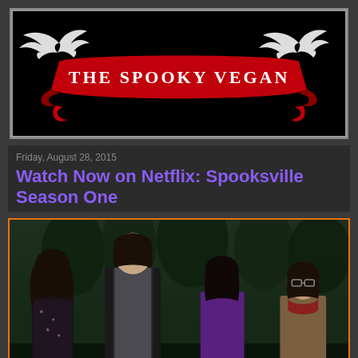[Figure (logo): The Spooky Vegan blog logo — black background with red ribbon banner reading 'THE SPOOKY VEGAN' in white serif text, flanked by two white illustrated bats on each side, white border around the banner.]
Friday, August 28, 2015
Watch Now on Netflix: Spooksville Season One
[Figure (photo): Promotional photo for Spooksville Season One showing four young teenagers standing in a dark forest setting. From left: a girl with long dark hair in a floral dress, a taller boy with dark hair in center foreground wearing a gray shirt and dark jacket, a girl with dark hair wearing a purple top, and a boy with glasses and a scarf on the far right. Orange border frame around the image.]